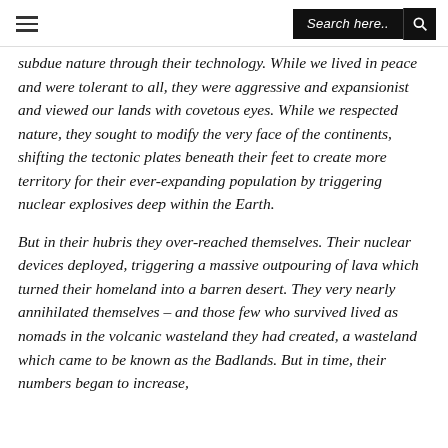Search here..
subdue nature through their technology. While we lived in peace and were tolerant to all, they were aggressive and expansionist and viewed our lands with covetous eyes. While we respected nature, they sought to modify the very face of the continents, shifting the tectonic plates beneath their feet to create more territory for their ever-expanding population by triggering nuclear explosives deep within the Earth.
But in their hubris they over-reached themselves. Their nuclear devices deployed, triggering a massive outpouring of lava which turned their homeland into a barren desert. They very nearly annihilated themselves – and those few who survived lived as nomads in the volcanic wasteland they had created, a wasteland which came to be known as the Badlands. But in time, their numbers began to increase,